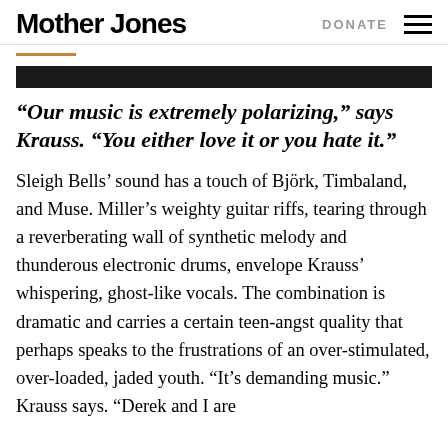Mother Jones | DONATE
“Our music is extremely polarizing,” says Krauss. “You either love it or you hate it.”
Sleigh Bells’ sound has a touch of Björk, Timbaland, and Muse. Miller’s weighty guitar riffs, tearing through a reverberating wall of synthetic melody and thunderous electronic drums, envelope Krauss’ whispering, ghost-like vocals. The combination is dramatic and carries a certain teen-angst quality that perhaps speaks to the frustrations of an over-stimulated, over-loaded, jaded youth. “It’s demanding music.” Krauss says. “Derek and I are